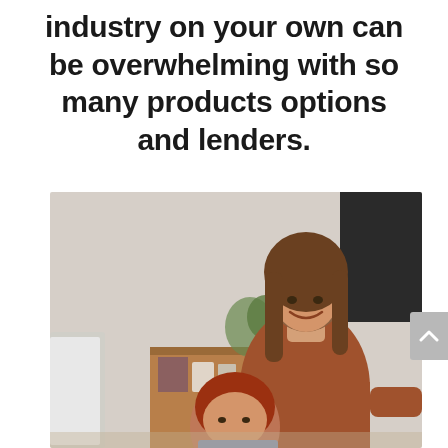industry on your own can be overwhelming with so many products options and lenders.
[Figure (photo): A smiling woman with brown hair leaning over a red-haired child who is sitting at a desk, both looking at a screen. Background shows a bookshelf, plants, and framed photos in a home setting.]